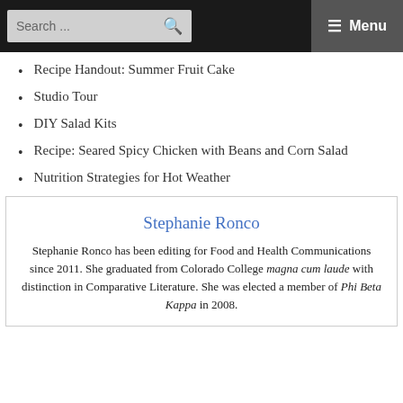Search ... ☰ Menu
Recipe Handout: Summer Fruit Cake
Studio Tour
DIY Salad Kits
Recipe: Seared Spicy Chicken with Beans and Corn Salad
Nutrition Strategies for Hot Weather
Stephanie Ronco
Stephanie Ronco has been editing for Food and Health Communications since 2011. She graduated from Colorado College magna cum laude with distinction in Comparative Literature. She was elected a member of Phi Beta Kappa in 2008.